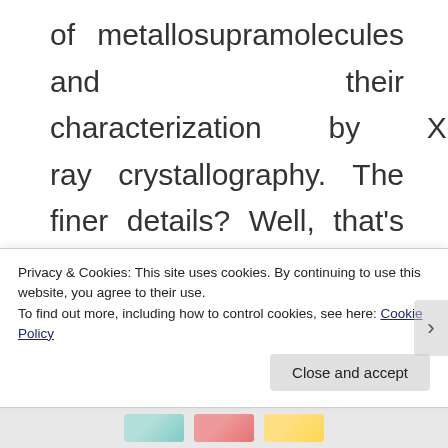of metallosupramolecules and their characterization by X-ray crystallography. The finer details? Well, that's taking a while to figure out.
I've only been at the University of Melbourne for as long as I have been working on my PhD
Privacy & Cookies: This site uses cookies. By continuing to use this website, you agree to their use.
To find out more, including how to control cookies, see here: Cookie Policy